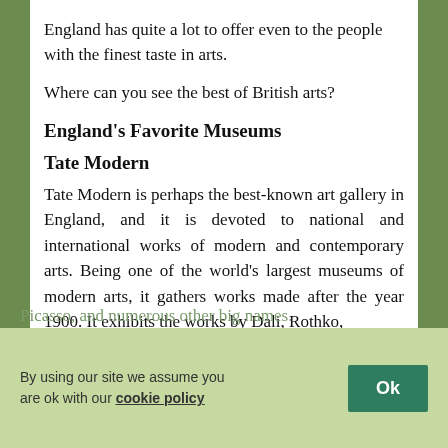England has quite a lot to offer even to the people with the finest taste in arts.
Where can you see the best of British arts?
England's Favorite Museums
Tate Modern
Tate Modern is perhaps the best-known art gallery in England, and it is devoted to national and international works of modern and contemporary arts. Being one of the world's largest museums of modern arts, it gathers works made after the year 1900. It exhibits the works by Dali, Rothko, Picasso, and numerous other big names.
By using our site we assume you are ok with our cookie policy  Ok